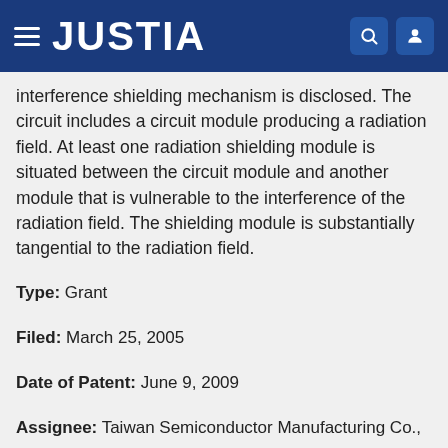JUSTIA
interference shielding mechanism is disclosed. The circuit includes a circuit module producing a radiation field. At least one radiation shielding module is situated between the circuit module and another module that is vulnerable to the interference of the radiation field. The shielding module is substantially tangential to the radiation field.
Type: Grant
Filed: March 25, 2005
Date of Patent: June 9, 2009
Assignee: Taiwan Semiconductor Manufacturing Co., Ltd.
Inventors: Chao-Hsiung Wang, Horng-Huei Tseng, Denny Tang, Wen-Chin Lin, Mark Hsieh
ANTI-CD26 ANTIBODIES AND METHODS OF USE